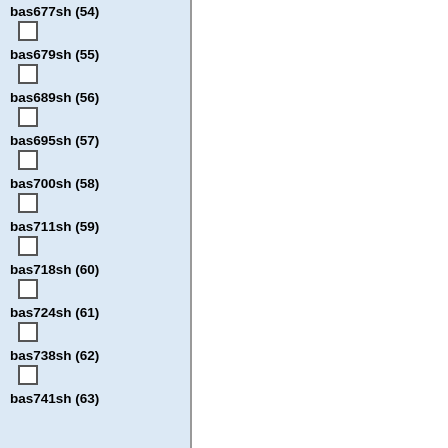bas677sh (54)
bas679sh (55)
bas689sh (56)
bas695sh (57)
bas700sh (58)
bas711sh (59)
bas718sh (60)
bas724sh (61)
bas738sh (62)
bas741sh (63)